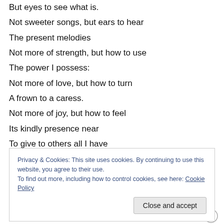But eyes to see what is.
Not sweeter songs, but ears to hear
The present melodies
Not more of strength, but how to use
The power I possess:
Not more of love, but how to turn
A frown to a caress.
Not more of joy, but how to feel
Its kindly presence near
To give to others all I have
Of courage and of cheer."
Privacy & Cookies: This site uses cookies. By continuing to use this website, you agree to their use. To find out more, including how to control cookies, see here: Cookie Policy
“In every thing give thanks."